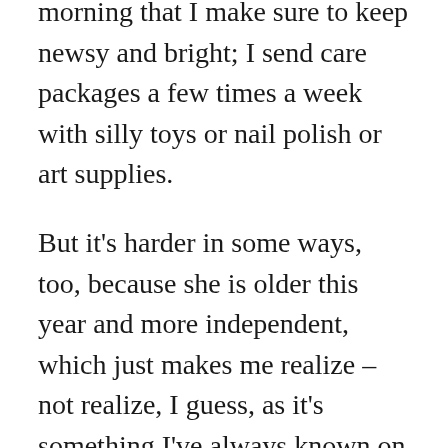morning that I make sure to keep newsy and bright; I send care packages a few times a week with silly toys or nail polish or art supplies.
But it's harder in some ways, too, because she is older this year and more independent, which just makes me realize – not realize, I guess, as it's something I've always known on an intellectual level – children grow up, of course – but it just makes me acutely aware, in my heart and my gut, that my whole job as a parent is to make my kids no longer need me.